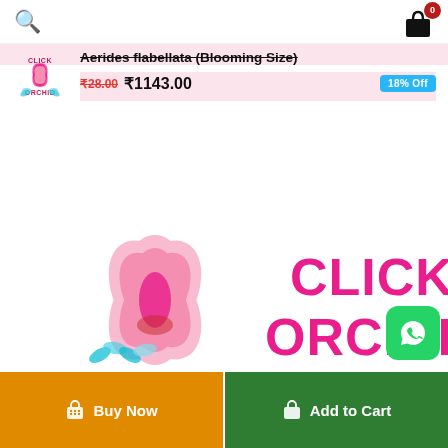Search | Cart (0)
Aerides flabellata (Blooming Size)
₹28.00  ₹1143.00  18% Off
[Figure (logo): Click Orchid logo — pink orchid flower with text CLICK ORCHID in red/pink]
[Figure (logo): Large Click Orchid logo centered — pink flower illustration with CLICK ORCHID text in pink]
[Figure (logo): WhatsApp icon button — green rounded square with white phone handset icon]
Buy Now
Add to Cart